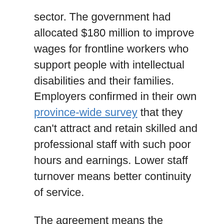sector. The government had allocated $180 million to improve wages for frontline workers who support people with intellectual disabilities and their families. Employers confirmed in their own province-wide survey that they can't attract and retain skilled and professional staff with such poor hours and earnings. Lower staff turnover means better continuity of service.
The agreement means the Ministry of Community and Social Services (MCSS) can soon begin the rollout of that $180 million. All frontline workers benefit from the general wage increases. A fifth of the $180 million is earmarked to further help the lowest-paid workers. If agency employers and local unions have no agreement on wages by June 1, 2015, MCSS will roll out flat rate increases.
“We have more than 50 locals in bargaining, and they will